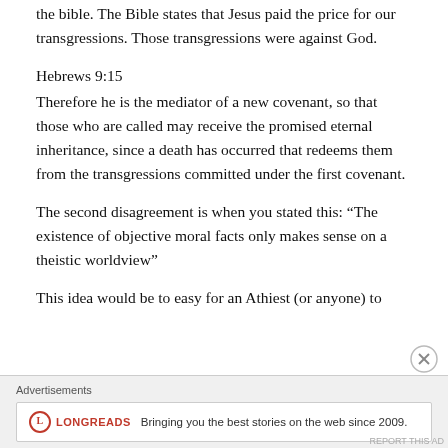the bible. The Bible states that Jesus paid the price for our transgressions. Those transgressions were against God.
Hebrews 9:15
Therefore he is the mediator of a new covenant, so that those who are called may receive the promised eternal inheritance, since a death has occurred that redeems them from the transgressions committed under the first covenant.
The second disagreement is when you stated this: “The existence of objective moral facts only makes sense on a theistic worldview”
This idea would be to easy for an Athiest (or anyone) to
Advertisements
[Figure (other): Longreads advertisement banner: logo with red circle L, tagline 'Bringing you the best stories on the web since 2009.']